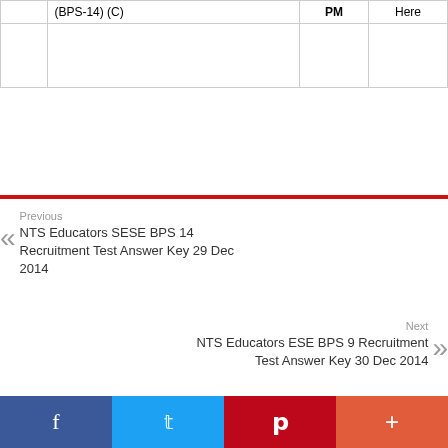|  |  | PM | Here |
| --- | --- | --- | --- |
|  | (BPS-14) (C) | PM | Here |
Previous
NTS Educators SESE BPS 14 Recruitment Test Answer Key 29 Dec 2014
Next
NTS Educators ESE BPS 9 Recruitment Test Answer Key 30 Dec 2014
RELATED ARTICLES
[Figure (other): Orange banner with Urdu script text (merit test)]
[Figure (infographic): Social share bar with Facebook, Twitter, Pinterest, and Plus buttons]